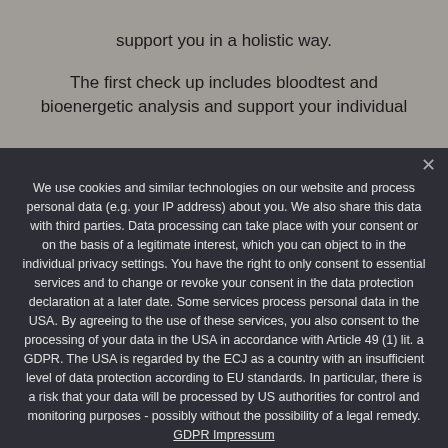support you in a holistic way.

The first check up includes bloodtest and bioenergetic analysis and support your individual
We use cookies and similar technologies on our website and process personal data (e.g. your IP address) about you. We also share this data with third parties. Data processing can take place with your consent or on the basis of a legitimate interest, which you can object to in the individual privacy settings. You have the right to only consent to essential services and to change or revoke your consent in the data protection declaration at a later date. Some services process personal data in the USA. By agreeing to the use of these services, you also consent to the processing of your data in the USA in accordance with Article 49 (1) lit. a GDPR. The USA is regarded by the ECJ as a country with an insufficient level of data protection according to EU standards. In particular, there is a risk that your data will be processed by US authorities for control and monitoring purposes - possibly without the possibility of a legal remedy. GDPR Impressum